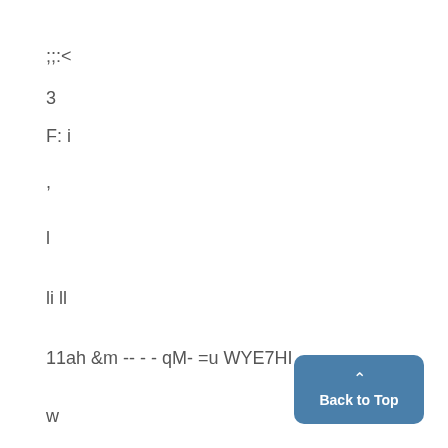;;:<
3
F: i
,
l
li ll
11ah &m -- - - qM- =u WYE7HI
w
[Figure (other): Back to Top button with upward caret arrow, blue rounded rectangle]